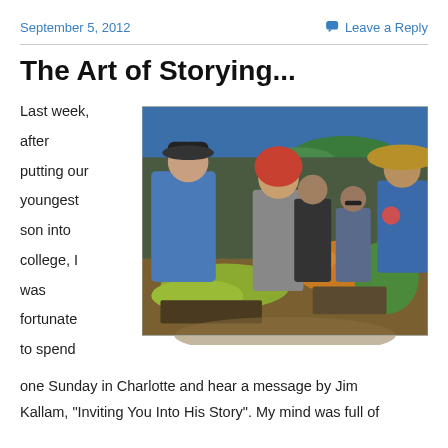September 5, 2012
Leave a Reply
The Art of Storying...
Last week, after putting our youngest son into college, I was fortunate to spend one Sunday in Charlotte and hear a message by Jim Kallam, "Inviting You Into His Story". My mind was full of
[Figure (photo): Outdoor farmers market scene with several people browsing produce. A man in a blue shirt and black cap on the left, a woman with red curly hair in the center, a vendor in a wide-brim hat on the right. Colorful fruits and vegetables including bananas and citrus are in the foreground. Blue tarp canopy visible in background.]